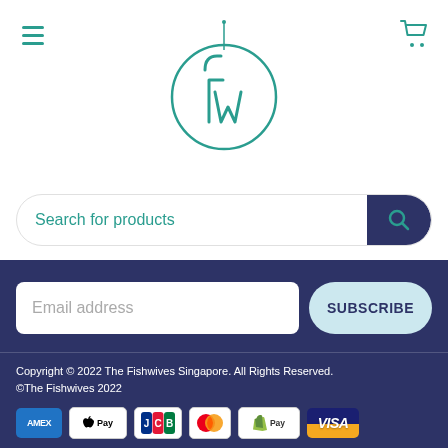[Figure (logo): FW logo in a circle with teal lettering — stylized lowercase f and w]
Search for products
Email address
SUBSCRIBE
Copyright © 2022 The Fishwives Singapore. All Rights Reserved. ©The Fishwives 2022
[Figure (other): Payment method icons: American Express, Apple Pay, JCB, Mastercard, Shopify Pay, Visa]